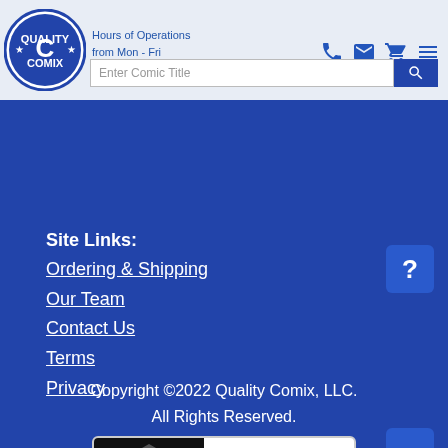[Figure (logo): Quality Comix circular logo with Q and C letters and stars]
Hours of Operations
from Mon - Fri
by appointment only
Enter Comic Title (search bar)
Site Links:
Ordering & Shipping
Our Team
Contact Us
Terms
Privacy
Copyright ©2022 Quality Comix, LLC.
All Rights Reserved.
[Figure (logo): BBB Accredited Business badge with BBB Rating: A+ As of 8/19/2022 Click for Profile]